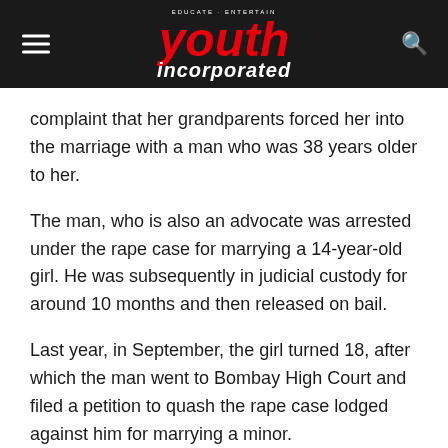EDUCATE · ENTERTAIN youth incorporated
complaint that her grandparents forced her into the marriage with a man who was 38 years older to her.
The man, who is also an advocate was arrested under the rape case for marrying a 14-year-old girl. He was subsequently in judicial custody for around 10 months and then released on bail.
Last year, in September, the girl turned 18, after which the man went to Bombay High Court and filed a petition to quash the rape case lodged against him for marrying a minor.
The 18-year-old also filed an affidavit in the court saying she has settled the dispute and wants to now cohabit with her husband and henceforth, has no objection for the case to be quashed.